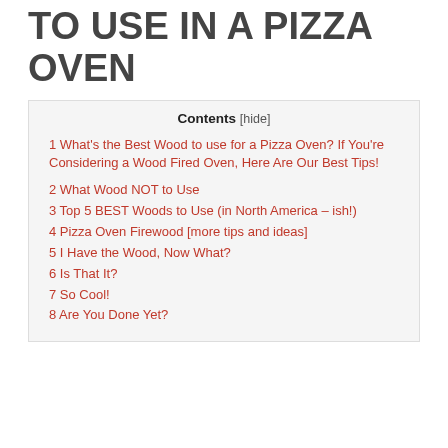TO USE IN A PIZZA OVEN
Contents [hide]
1 What's the Best Wood to use for a Pizza Oven? If You're Considering a Wood Fired Oven, Here Are Our Best Tips!
2 What Wood NOT to Use
3 Top 5 BEST Woods to Use (in North America – ish!)
4 Pizza Oven Firewood [more tips and ideas]
5 I Have the Wood, Now What?
6 Is That It?
7 So Cool!
8 Are You Done Yet?